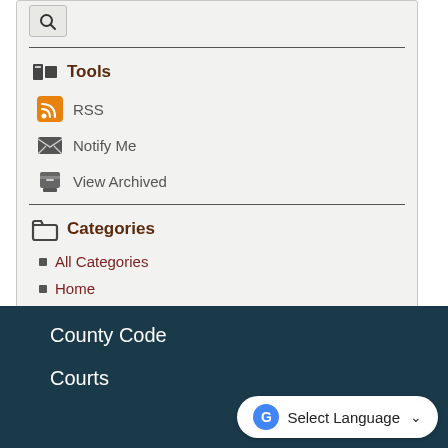[Figure (screenshot): Sidebar box with search icon, Tools section and Categories section on a light gray background]
Tools
RSS
Notify Me
View Archived
Categories
All Categories
Home
Home - 2019 News Carousel
Fire & Rescue
County Code
Courts
Select Language